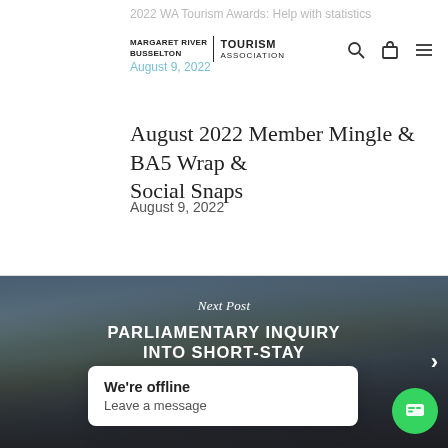2022 WA Tourism Awards: Help with statistics | August 9, 2022
August 2022 Member Mingle & BA5 Wrap & Social Snaps
August 9, 2022
[Figure (photo): Next Post: Parliamentary Inquiry into Short-Stay Accommodation — background image of a resort/lodge property at dusk with pool area]
We're offline
Leave a message